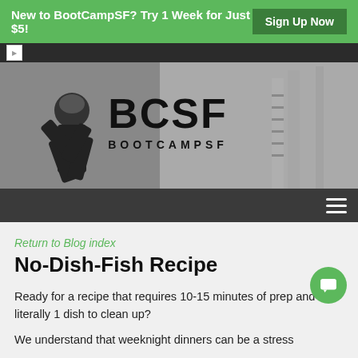New to BootCampSF? Try 1 Week for Just $5! Sign Up Now
[Figure (screenshot): BootCampSF hero image showing people exercising outdoors, with BCSF BOOTCAMPSF logo overlaid in bold black text on a grayscale background]
Return to Blog index
No-Dish-Fish Recipe
Ready for a recipe that requires 10-15 minutes of prep and literally 1 dish to clean up?
We understand that weeknight dinners can be a stress